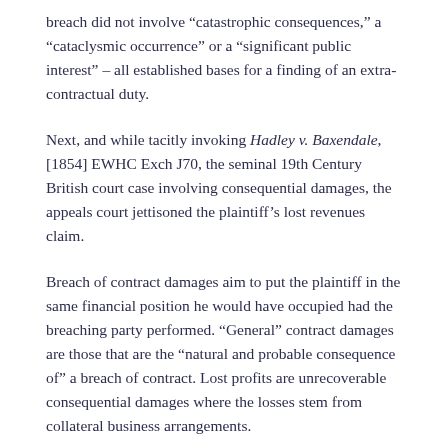breach did not involve “catastrophic consequences,” a “cataclysmic occurrence” or a “significant public interest” – all established bases for a finding of an extra-contractual duty.
Next, and while tacitly invoking Hadley v. Baxendale, [1854] EWHC Exch J70, the seminal 19th Century British court case involving consequential damages, the appeals court jettisoned the plaintiff’s lost revenues claim.
Breach of contract damages aim to put the plaintiff in the same financial position he would have occupied had the breaching party performed. “General” contract damages are those that are the “natural and probable consequence of” a breach of contract. Lost profits are unrecoverable consequential damages where the losses stem from collateral business arrangements.